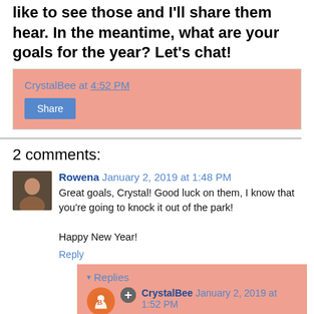like to see those and I'll share them hear. In the meantime, what are your goals for the year? Let's chat!
CrystalBee at 4:52 PM
Share
2 comments:
Rowena January 2, 2019 at 1:48 PM
Great goals, Crystal! Good luck on them, I know that you're going to knock it out of the park!

Happy New Year!
Reply
Replies
CrystalBee January 2, 2019 at 1:52 PM